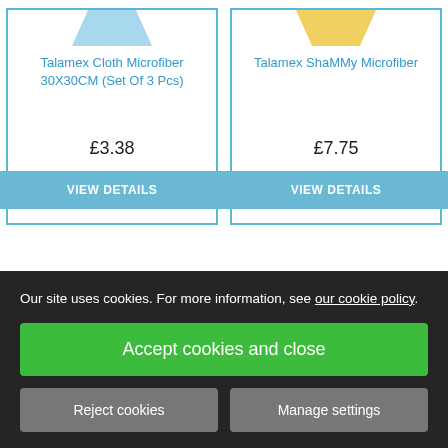Talamex Cloth Microfiber 30X30CM (Set Of 3 Pcs)
£3.38
VIEW DETAILS
Talamex ShaMMy Microfiber
£7.75
VIEW DETAILS
Our site uses cookies. For more information, see our cookie policy.
Accept cookies and close
Reject cookies
Manage settings